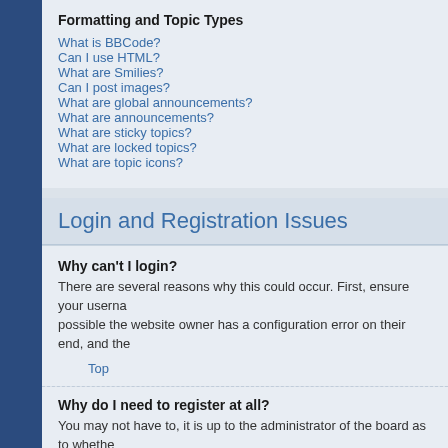Formatting and Topic Types
What is BBCode?
Can I use HTML?
What are Smilies?
Can I post images?
What are global announcements?
What are announcements?
What are sticky topics?
What are locked topics?
What are topic icons?
Login and Registration Issues
Why can't I login?
There are several reasons why this could occur. First, ensure your username and password are correct. If they are, contact the board owner to make sure you haven't been banned. It is also possible the website owner has a configuration error on their end, and they would need to fix it.
Top
Why do I need to register at all?
You may not have to, it is up to the administrator of the board as to whether you need to register in order to post messages. However, registration will give you access to additional features not available to guest users such as definable avatar images, private messaging, emailing of fellow users, usergroup subscription, etc. It only takes a few moments to register so it is recommended you do so.
Top